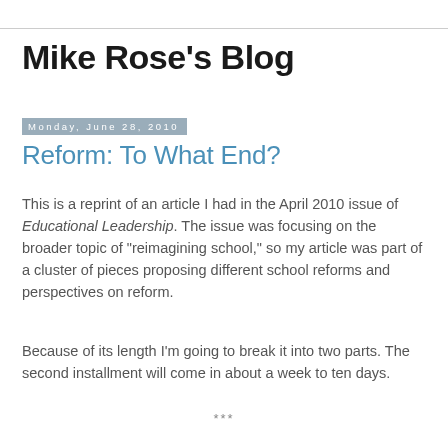Mike Rose's Blog
Monday, June 28, 2010
Reform: To What End?
This is a reprint of an article I had in the April 2010 issue of Educational Leadership. The issue was focusing on the broader topic of "reimagining school," so my article was part of a cluster of pieces proposing different school reforms and perspectives on reform.
Because of its length I'm going to break it into two parts. The second installment will come in about a week to ten days.
***